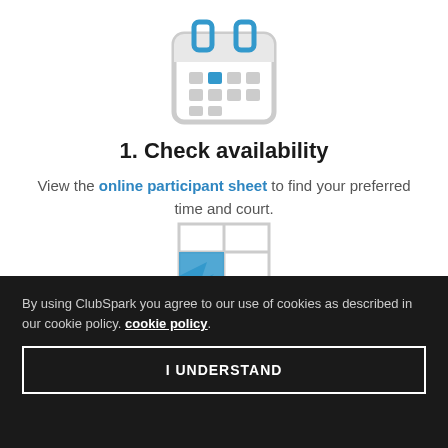[Figure (illustration): Calendar icon with blue rings at top and a blue highlighted square in grid, gray grid squares, light gray calendar body with rounded rectangle border]
1. Check availability
View the online participant sheet to find your preferred time and court.
[Figure (illustration): Partial icon showing a grid/table with a blue cursor arrow pointing into it, partially cropped at bottom of white area]
By using ClubSpark you agree to our use of cookies as described in our cookie policy. cookie policy.
I UNDERSTAND